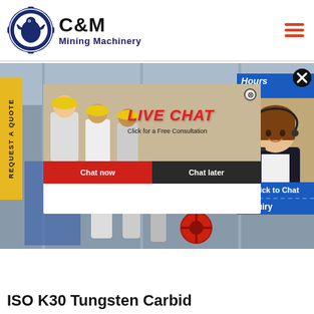[Figure (logo): C&M Mining Machinery logo with eagle inside gear emblem on left and company name text on right]
[Figure (photo): Hero banner showing industrial machinery/cone crusher in a factory setting]
REQUEST A QUOTE
[Figure (screenshot): Live Chat popup overlay showing workers in hard hats, LIVE CHAT text in red italic, 'Click for a Free Consultation', Chat now and Chat later buttons]
[Figure (photo): Right side chat widget showing Hours Online header in blue, female customer service agent with headset, Click to Chat button, and Enquiry label]
ISO K30 Tungsten Carbid